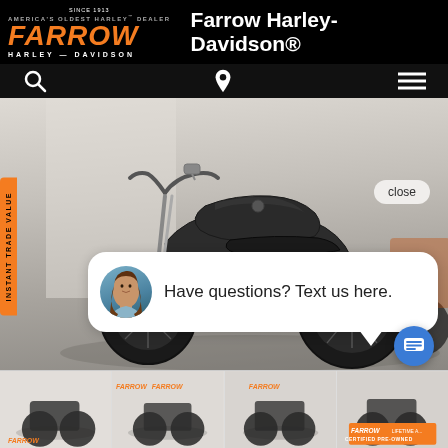America's Oldest Harley® Dealer — Farrow Harley-Davidson®
[Figure (screenshot): Farrow Harley-Davidson dealer website screenshot showing a dark matte Harley-Davidson motorcycle (Sportster Iron) in a showroom, with a chat popup bubble reading 'Have questions? Text us here.' and a close button. Instant Trade Value tab on left. Thumbnail strip at bottom with 4 smaller motorcycle images.]